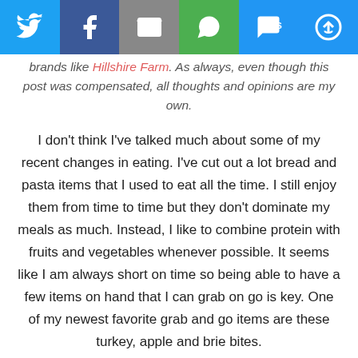[Figure (infographic): Social media sharing bar with six icons: Twitter (blue), Facebook (dark blue), Email (gray), WhatsApp (green), SMS (blue), Share/Copy (blue)]
brands like Hillshire Farm. As always, even though this post was compensated, all thoughts and opinions are my own.
I don’t think I’ve talked much about some of my recent changes in eating. I’ve cut out a lot bread and pasta items that I used to eat all the time. I still enjoy them from time to time but they don’t dominate my meals as much. Instead, I like to combine protein with fruits and vegetables whenever possible. It seems like I am always short on time so being able to have a few items on hand that I can grab on go is key. One of my newest favorite grab and go items are these turkey, apple and brie bites.